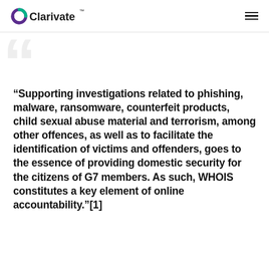Clarivate
[Figure (illustration): Large decorative quotation mark watermark in light gray, top-left area below header]
“Supporting investigations related to phishing, malware, ransomware, counterfeit products, child sexual abuse material and terrorism, among other offences, as well as to facilitate the identification of victims and offenders, goes to the essence of providing domestic security for the citizens of G7 members. As such, WHOIS constitutes a key element of online accountability.”[1]